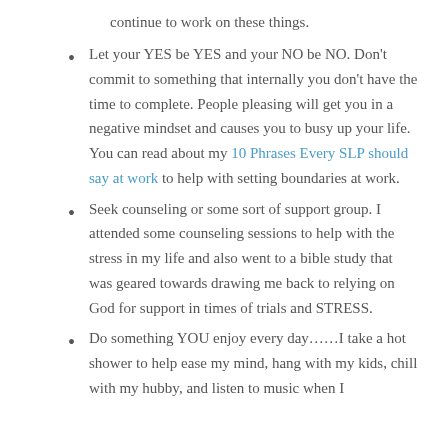continue to work on these things.
Let your YES be YES and your NO be NO. Don't commit to something that internally you don't have the time to complete. People pleasing will get you in a negative mindset and causes you to busy up your life. You can read about my 10 Phrases Every SLP should say at work to help with setting boundaries at work.
Seek counseling or some sort of support group. I attended some counseling sessions to help with the stress in my life and also went to a bible study that was geared towards drawing me back to relying on God for support in times of trials and STRESS.
Do something YOU enjoy every day……I take a hot shower to help ease my mind, hang with my kids, chill with my hubby, and listen to music when I